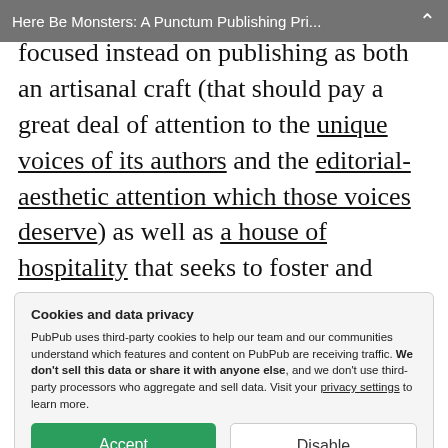Here Be Monsters: A Punctum Publishing Pri...
focused instead on publishing as both an artisanal craft (that should pay a great deal of attention to the unique voices of its authors and the editorial-aesthetic attention which those voices deserve) as well as a house of hospitality that seeks to foster and preserve (in long time-frames) work that might not find a
Cookies and data privacy
PubPub uses third-party cookies to help our team and our communities understand which features and content on PubPub are receiving traffic. We don't sell this data or share it with anyone else, and we don't use third-party processors who aggregate and sell data. Visit your privacy settings to learn more.
[Accept] [Disable]
my career as a researcher in the